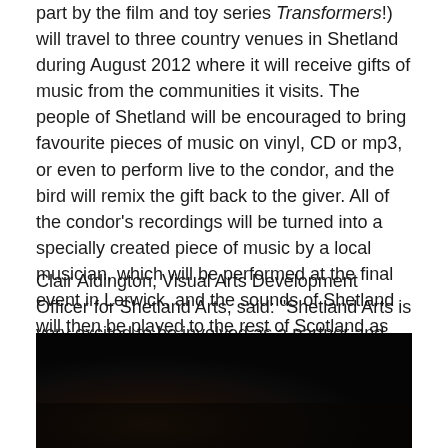part by the film and toy series Transformers!) will travel to three country venues in Shetland during August 2012 where it will receive gifts of music from the communities it visits. The people of Shetland will be encouraged to bring favourite pieces of music on vinyl, CD or mp3, or even to perform live to the condor, and the bird will remix the gift back to the giver. All of the condor's recordings will be turned into a specially created piece of music by a local musician, which will be performed at the final event in Lerwick, and the sounds of Shetland will then be played to the rest of Scotland as the condor visits Roofless events across the country.
Clair Aldington, Visual Arts Development Officer for Shetland Arts, said: "Shetland Arts is very excited to be involved as a partner and co-producer in Roofless and we're looking forward to appointing two Shetland based artists and a local technician to work with us in producing a unique and spectacular arts event in the summer of 2012."
[Figure (photo): A dark, mostly black photograph showing dim, shadowy shapes against a very dark background.]